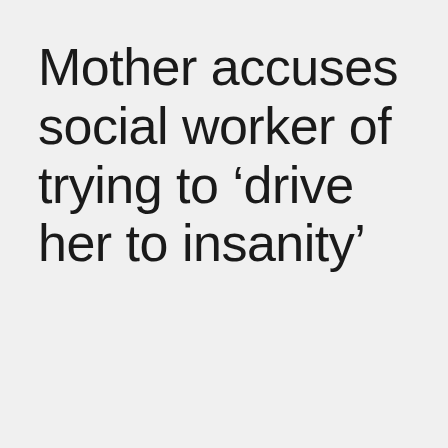Mother accuses social worker of trying to ‘drive her to insanity’